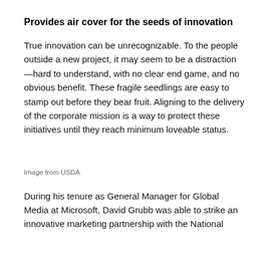Provides air cover for the seeds of innovation
True innovation can be unrecognizable. To the people outside a new project, it may seem to be a distraction—hard to understand, with no clear end game, and no obvious benefit. These fragile seedlings are easy to stamp out before they bear fruit. Aligning to the delivery of the corporate mission is a way to protect these initiatives until they reach minimum loveable status.
Image from USDA
During his tenure as General Manager for Global Media at Microsoft, David Grubb was able to strike an innovative marketing partnership with the National